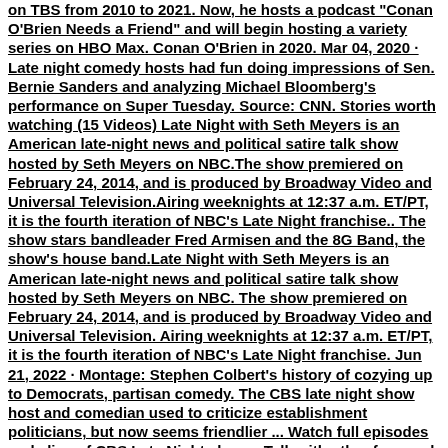on TBS from 2010 to 2021. Now, he hosts a podcast "Conan O'Brien Needs a Friend" and will begin hosting a variety series on HBO Max. Conan O'Brien in 2020. Mar 04, 2020 · Late night comedy hosts had fun doing impressions of Sen. Bernie Sanders and analyzing Michael Bloomberg's performance on Super Tuesday. Source: CNN. Stories worth watching (15 Videos) Late Night with Seth Meyers is an American late-night news and political satire talk show hosted by Seth Meyers on NBC.The show premiered on February 24, 2014, and is produced by Broadway Video and Universal Television.Airing weeknights at 12:37 a.m. ET/PT, it is the fourth iteration of NBC's Late Night franchise.. The show stars bandleader Fred Armisen and the 8G Band, the show's house band.Late Night with Seth Meyers is an American late-night news and political satire talk show hosted by Seth Meyers on NBC. The show premiered on February 24, 2014, and is produced by Broadway Video and Universal Television. Airing weeknights at 12:37 a.m. ET/PT, it is the fourth iteration of NBC's Late Night franchise. Jun 21, 2022 · Montage: Stephen Colbert's history of cozying up to Democrats, partisan comedy. The CBS late night show host and comedian used to criticize establishment politicians, but now seems friendlier ... Watch full episodes and clips of CBS Late Night shows. Talk with other fans and catch up with your favorite Late Night shows like Late Show with David Letterman and The Late Late Show